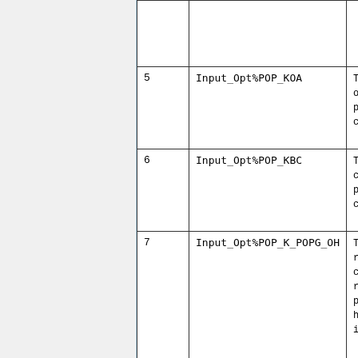| # | Name | Description |
| --- | --- | --- |
|  |  |  |
| 5 | Input_Opt%POP_KOA | T
o
p
c |
| 6 | Input_Opt%POP_KBC | T
c
p
c |
| 7 | Input_Opt%POP_K_POPG_OH | T
re
co
re
pl
hy
in |
| 8 | Input_Opt%POP_K_POPP_O3A | T |